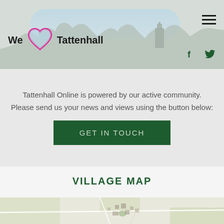[Figure (screenshot): Website header for 'We Love Tattenhall' with heart logo, village skyline silhouette, hamburger menu, and social media icons (Facebook, Twitter)]
Tattenhall Online is powered by our active community.
Please send us your news and views using the button below:
GET IN TOUCH
VILLAGE MAP
[Figure (map): Village map of Tattenhall showing roads, buildings, and green spaces]